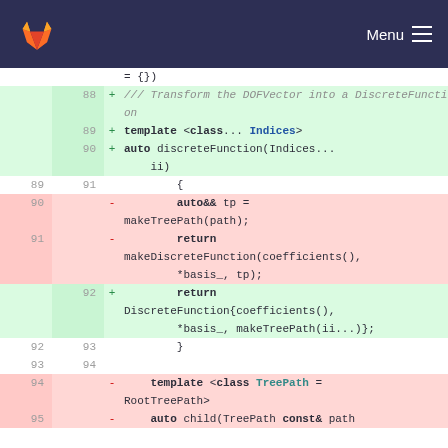GitLab navbar with logo and Menu
[Figure (screenshot): Code diff view showing C++ template code changes. Lines 88-95 visible with old/new line numbers, diff markers (+/-), and syntax-highlighted code.]